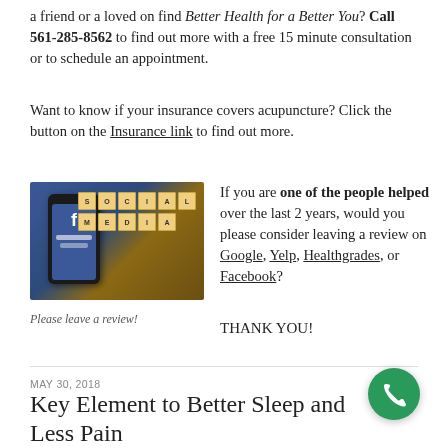a friend or a loved on find Better Health for a Better You? Call 561-285-8562 to find out more with a free 15 minute consultation or to schedule an appointment.
Want to know if your insurance covers acupuncture? Click the button on the Insurance link to find out more.
[Figure (photo): A smartphone displaying a Facebook screen, with scrabble tiles spelling 'SOCIAL MEDIA' arranged next to it on a wooden surface.]
Please leave a review!
If you are one of the people helped over the last 2 years, would you please consider leaving a review on Google, Yelp, Healthgrades, or Facebook? THANK YOU!
MAY 30, 2018
Key Element to Better Sleep and Less Pain